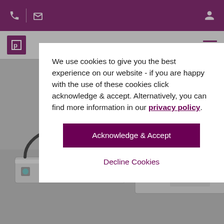Header bar with phone, mail, and user icons
[Figure (screenshot): Website screenshot showing a cookie consent modal dialog overlaid on a product page for industrial linear actuators. Background shows a gray navigation bar with a purple logo and hamburger menu, and below it a gray area with metallic linear actuator products. The modal is a white box with text about cookie usage.]
We use cookies to give you the best experience on our website - if you are happy with the use of these cookies click acknowledge & accept. Alternatively, you can find more information in our privacy policy.
Acknowledge & Accept
Decline Cookies